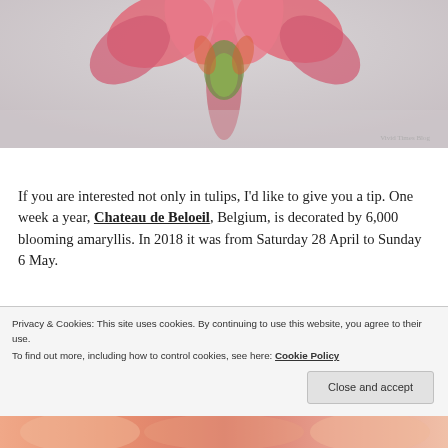[Figure (photo): Close-up photo of pink amaryllis flowers against a light background, with watermark text 'Vivid Times Blog' in bottom right corner]
If you are interested not only in tulips, I'd like to give you a tip. One week a year, Chateau de Beloeil, Belgium, is decorated by 6,000 blooming amaryllis. In 2018 it was from Saturday 28 April to Sunday 6 May.
Privacy & Cookies: This site uses cookies. By continuing to use this website, you agree to their use. To find out more, including how to control cookies, see here: Cookie Policy
[Figure (photo): Partial view of pink and orange amaryllis flowers at bottom of page]